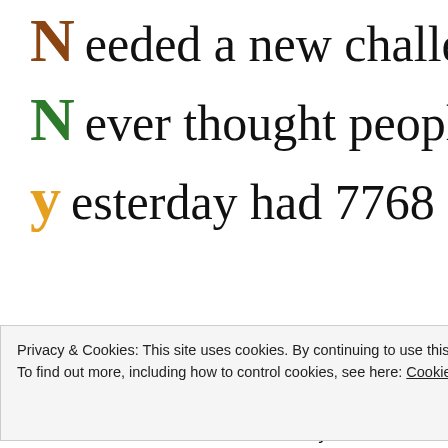[Figure (illustration): Acrostic poem example using the name 'NNY'. Each letter is displayed in color (brown N, green N, yellow Y) followed by handwritten-style text: 'eeded a new challen', 'ever thought people', 'esterday had 7768']
2. Students write their name vertically down the left hand side o
3. Students think of sentences beginning with the letters of their
4. T monitors, helping students with ideas and language, encour
Privacy & Cookies: This site uses cookies. By continuing to use this website, you agree to their use. To find out more, including how to control cookies, see here: Cookie Policy